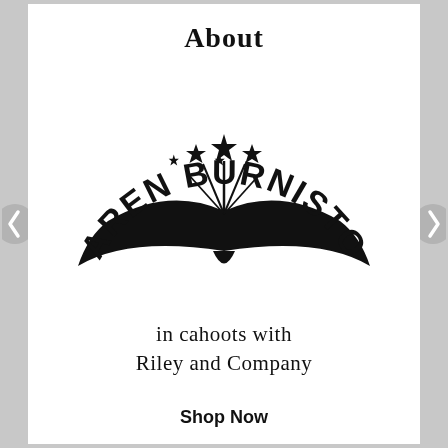About
[Figure (logo): Karen Burniston logo: arched bold text reading 'KAREN BURNISTON' above an open book silhouette with fireworks/stars shooting upward from the spine]
in cahoots with Riley and Company
Shop Now